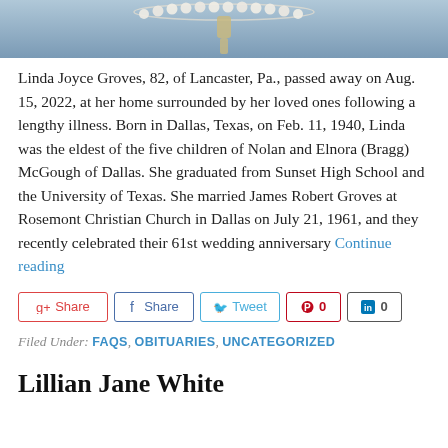[Figure (photo): Top portion of a photo showing a pearl necklace on a blue/grey fabric background]
Linda Joyce Groves, 82, of Lancaster, Pa., passed away on Aug. 15, 2022, at her home surrounded by her loved ones following a lengthy illness. Born in Dallas, Texas, on Feb. 11, 1940, Linda was the eldest of the five children of Nolan and Elnora (Bragg) McGough of Dallas. She graduated from Sunset High School and the University of Texas. She married James Robert Groves at Rosemont Christian Church in Dallas on July 21, 1961, and they recently celebrated their 61st wedding anniversary Continue reading
[Figure (infographic): Social sharing buttons: Google+ Share, Facebook Share, Twitter Tweet, Pinterest 0, LinkedIn 0]
Filed Under: FAQS, OBITUARIES, UNCATEGORIZED
Lillian Jane White